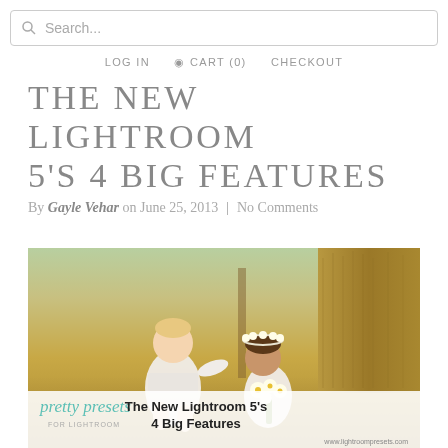Search...
LOG IN  CART (0)  CHECKOUT
THE NEW LIGHTROOM 5'S 4 BIG FEATURES
By Gayle Vehar on June 25, 2013  |  No Comments
[Figure (photo): Two young girls in white dresses in a golden field next to a hay bale. One girl is a toddler, the other wears a flower crown and holds daisies. The image has a watermark/caption bar at the bottom with 'pretty presets for lightroom' logo and text 'The New Lightroom 5's 4 Big Features' and URL www.lightroompresets.com]